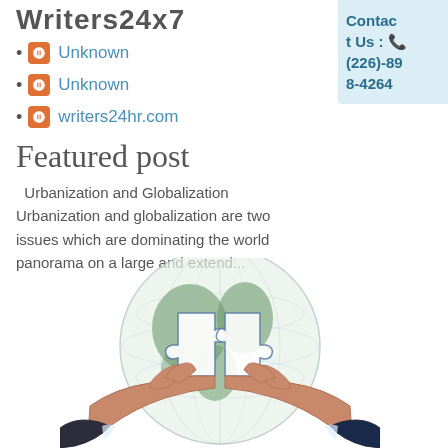Writers24x7
Unknown
Unknown
writers24hr.com
Contact Us : (226)-898-4264
Featured post
Urbanization and Globalization Urbanization and globalization are two issues which are dominating the world panorama on a large and extend...
[Figure (illustration): Two hands holding puzzle pieces of a globe — an illustration representing globalization and international cooperation.]